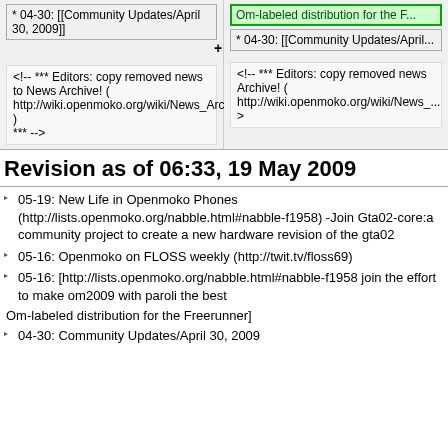* 04-30: [[Community Updates/April 30, 2009]]
<!-- *** Editors: copy removed news to News Archive! ( http://wiki.openmoko.org/wiki/News_Archive ) *** -->
+ Om-labeled distribution for the F...
* 04-30: [[Community Updates/April...
<!-- *** Editors: copy removed news to News Archive! ( http://wiki.openmoko.org/wiki/News_... >
Revision as of 06:33, 19 May 2009
05-19: New Life in Openmoko Phones (http://lists.openmoko.org/nabble.html#nabble-f1958) -Join Gta02-core:a community project to create a new hardware revision of the gta02
05-16: Openmoko on FLOSS weekly (http://twit.tv/floss69)
05-16: [http://lists.openmoko.org/nabble.html#nabble-f1958 join the effort to make om2009 with paroli the best
Om-labeled distribution for the Freerunner]
04-30: Community Updates/April 30, 2009